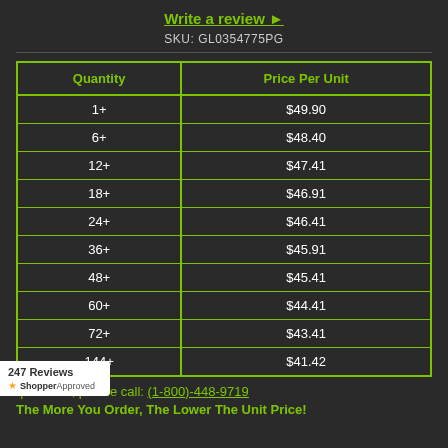Write a review ▶
SKU: GL0354775PG
| Quantity | Price Per Unit |
| --- | --- |
| 1+ | $49.90 |
| 6+ | $48.40 |
| 12+ | $47.41 |
| 18+ | $46.91 |
| 24+ | $46.41 |
| 36+ | $45.91 |
| 48+ | $45.41 |
| 60+ | $44.41 |
| 72+ | $43.41 |
| 144+ | $41.42 |
For larger quantities, please call: (1-800)-448-9719
The More You Order, The Lower The Unit Price!